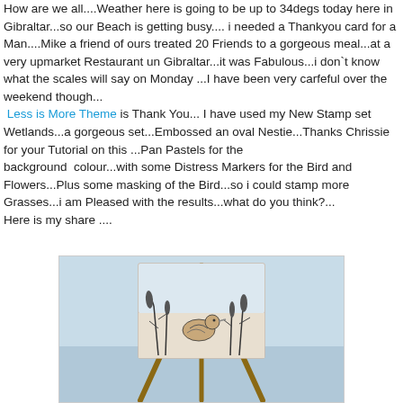How are we all....Weather here is going to be up to 34degs today here in Gibraltar...so our Beach is getting busy.... i needed a Thankyou card for a Man....Mike a friend of ours treated 20 Friends to a gorgeous meal...at a very upmarket Restaurant un Gibraltar...it was Fabulous...i don`t know what the scales will say on Monday ...I have been very carfeful over the weekend though... Less is More Theme is Thank You... I have used my New Stamp set Wetlands...a gorgeous set...Embossed an oval Nestie...Thanks Chrissie for your Tutorial on this ...Pan Pastels for the background  colour...with some Distress Markers for the Bird and Flowers...Plus some masking of the Bird...so i could stamp more Grasses...i am Pleased with the results...what do you think?... Here is my share ....
[Figure (photo): A handmade card displayed on a wooden easel, showing a bird among wetland grasses with a pale blue/grey background, photographed outdoors near the sea.]